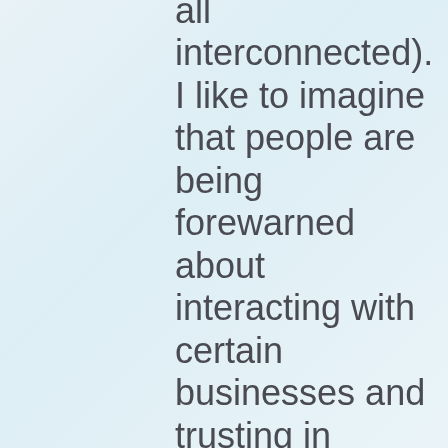all interconnected). I like to imagine that people are being forewarned about interacting with certain businesses and trusting in certain people. I like to think I've opened discussion and stirred up ideas. Let's talk